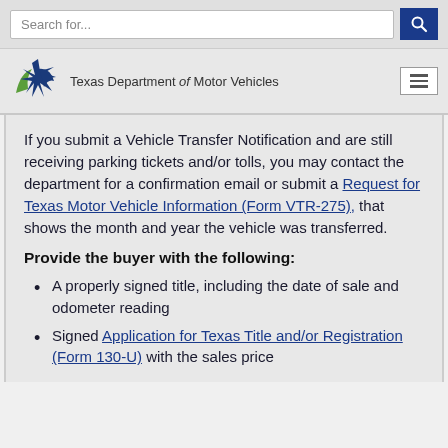Search for...
[Figure (logo): Texas Department of Motor Vehicles logo with star and swoosh icon]
If you submit a Vehicle Transfer Notification and are still receiving parking tickets and/or tolls, you may contact the department for a confirmation email or submit a Request for Texas Motor Vehicle Information (Form VTR-275), that shows the month and year the vehicle was transferred.
Provide the buyer with the following:
A properly signed title, including the date of sale and odometer reading
Signed Application for Texas Title and/or Registration (Form 130-U) with the sales price